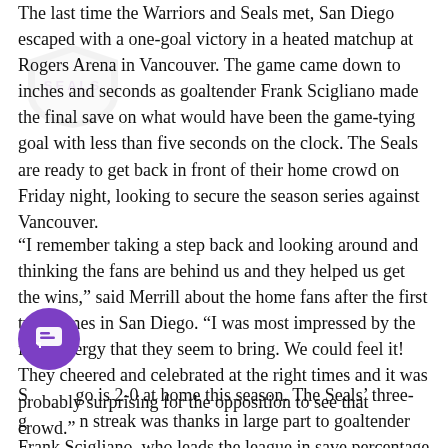The last time the Warriors and Seals met, San Diego escaped with a one-goal victory in a heated matchup at Rogers Arena in Vancouver. The game came down to inches and seconds as goaltender Frank Scigliano made the final save on what would have been the game-tying goal with less than five seconds on the clock. The Seals are ready to get back in front of their home crowd on Friday night, looking to secure the season series against Vancouver.
“I remember taking a step back and looking around and thinking the fans are behind us and they helped us get the wins,” said Merrill about the home fans after the first two games in San Diego. “I was most impressed by the fans’ energy that they seem to bring. We could feel it! They cheered and celebrated at the right times and it was probably surprising for the opposition to see that crowd.”
San Diego is 2-0 at home this season. The Seals’ three-game win streak was thanks in large part to goaltender Frank Scigliano, who leads the league in save percentage